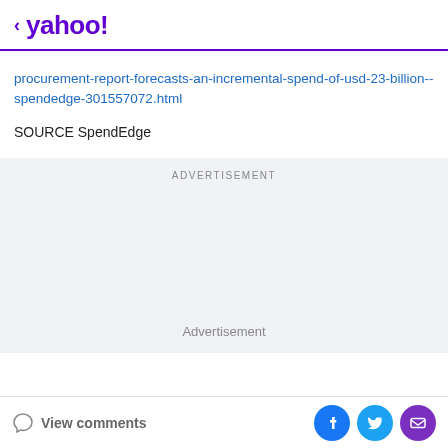< yahoo!
procurement-report-forecasts-an-incremental-spend-of-usd-23-billion--spendedge-301557072.html
SOURCE SpendEdge
ADVERTISEMENT
Advertisement
View comments